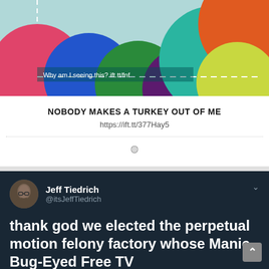[Figure (illustration): Colorful overlapping circles/bubbles in pink, blue, green, teal, purple, orange, yellow-green on a light blue/teal background with dashed border lines and white text 'Why am I seeing this? ift.tt/fnf']
NOBODY MAKES A TURKEY OUT OF ME
https://ift.tt/377Hay5
[Figure (screenshot): Tweet screenshot on dark background from Jeff Tiedrich (@itsJeffTiedrich): 'thank god we elected the perpetual motion felony factory whose Manic Bug-Eyed Free TV']